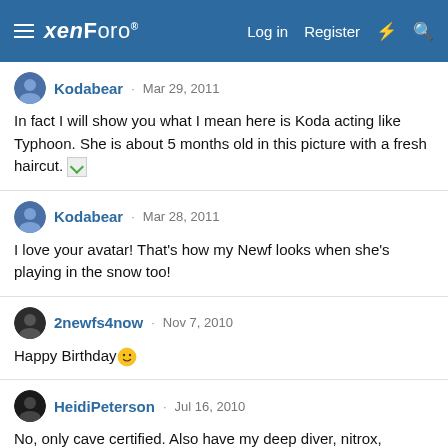xenForo — Log in  Register
Kodabear · Mar 29, 2011
In fact I will show you what I mean here is Koda acting like Typhoon. She is about 5 months old in this picture with a fresh haircut. [image]
Kodabear · Mar 28, 2011
I love your avatar! That's how my Newf looks when she's playing in the snow too!
2newfs4now · Nov 7, 2010
Happy Birthday 🙂
HeidiPeterson · Jul 16, 2010
No, only cave certified. Also have my deep diver, nitrox, advanced open water, cavern, and played around with rebreathers. Very cool. You have to get cavern before you can cave...But Florida is the place to do it. The...